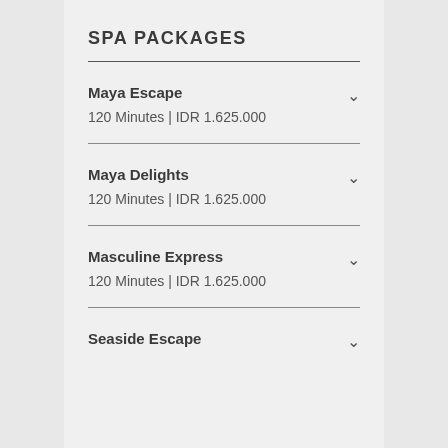SPA PACKAGES
Maya Escape
120 Minutes | IDR 1.625.000
Maya Delights
120 Minutes | IDR 1.625.000
Masculine Express
120 Minutes | IDR 1.625.000
Seaside Escape